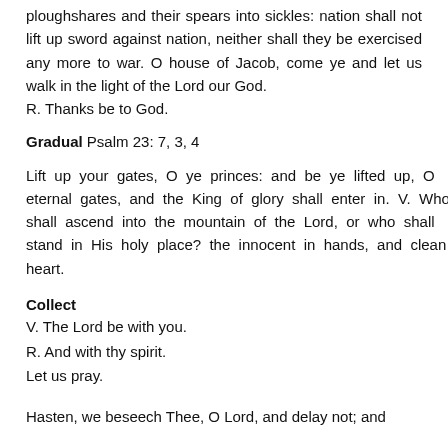ploughshares and their spears into sickles: nation shall not lift up sword against nation, neither shall they be exercised any more to war. O house of Jacob, come ye and let us walk in the light of the Lord our God.
R. Thanks be to God.
Gradual Psalm 23: 7, 3, 4
Lift up your gates, O ye princes: and be ye lifted up, O eternal gates, and the King of glory shall enter in. V. Who shall ascend into the mountain of the Lord, or who shall stand in His holy place? the innocent in hands, and clean of heart.
Collect
V. The Lord be with you.
R. And with thy spirit.
Let us pray.
Hasten, we beseech Thee, O Lord, and delay not; and